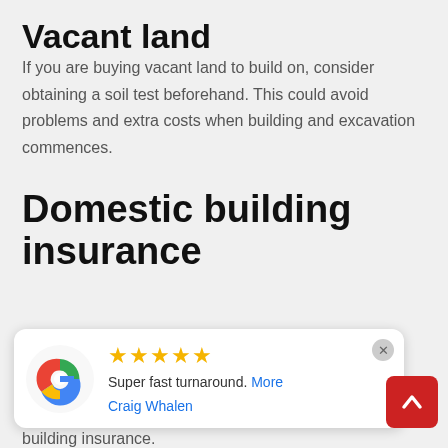Vacant land
If you are buying vacant land to build on, consider obtaining a soil test beforehand. This could avoid problems and extra costs when building and excavation commences.
Domestic building insurance
[Figure (screenshot): Google review card with 5 stars, text 'Super fast turnaround. More', reviewer name 'Craig Whalen', Google logo, close button, and red scroll-up arrow button]
building insurance.